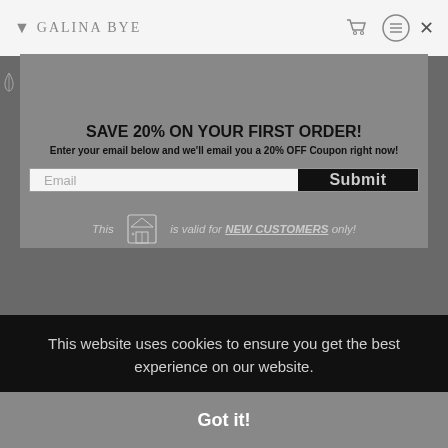Galina Bye
[Figure (logo): Galina Bye logo with tree icon, center top of modal]
Facebook
Twitter
Instagram
Pinterest
SAVE 20% ON YOUR FIRST ORDER!
Enter your email below and we'll email you a 20% OFF Coupon right now!
Email  Submit
This [icon] is valid for NEW CUSTOMERS only!
Proud Member of Art Storefronts
This website uses cookies to ensure you get the best experience on our website.
Got it!